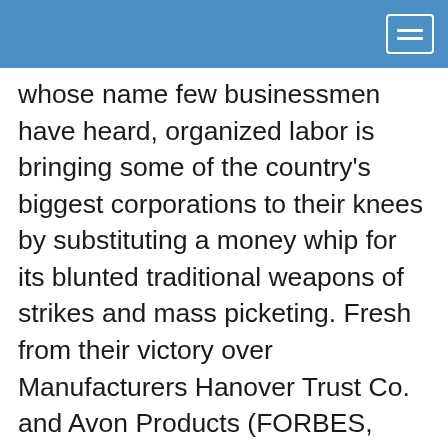whose name few businessmen have heard, organized labor is bringing some of the country's biggest corporations to their knees by substituting a money whip for its blunted traditional weapons of strikes and mass picketing. Fresh from their victory over Manufacturers Hanover Trust Co. and Avon Products (FORBES, Mar. 20), union forces have just added New York Life Insurance Co. to their conquest list and are stepping up pressure on both coasts to bend other giant companies and financial institutions to their will.